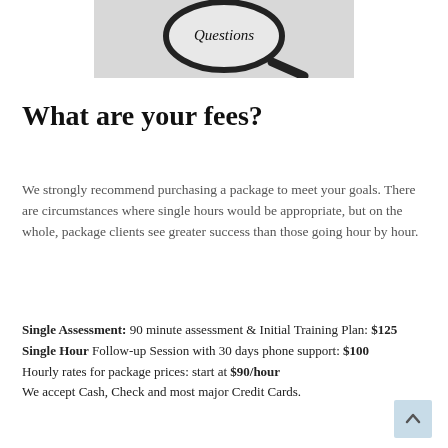[Figure (photo): Magnifying glass over the word 'Questions' on a light grey background]
What are your fees?
We strongly recommend purchasing a package to meet your goals. There are circumstances where single hours would be appropriate, but on the whole, package clients see greater success than those going hour by hour.
Single Assessment: 90 minute assessment & Initial Training Plan: $125
Single Hour Follow-up Session with 30 days phone support: $100
Hourly rates for package prices: start at $90/hour
We accept Cash, Check and most major Credit Cards.